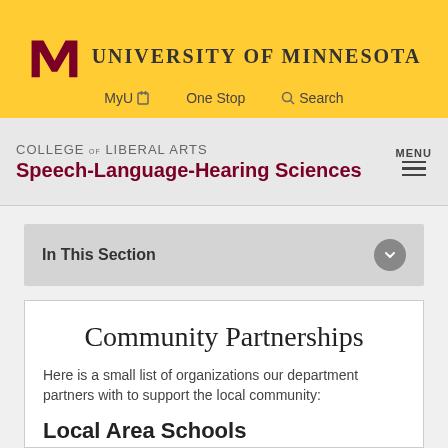[Figure (logo): University of Minnesota logo with maroon M and university name]
MyU  One Stop  Search
COLLEGE OF LIBERAL ARTS
Speech-Language-Hearing Sciences
In This Section
Community Partnerships
Here is a small list of organizations our department partners with to support the local community:
Local Area Schools